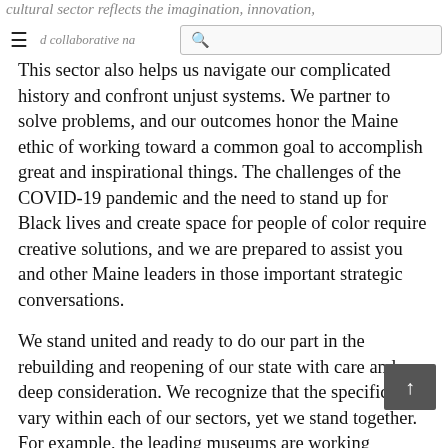cultural sector reflects the imagination, innovation, and collaborative nature of Maine.
This sector also helps us navigate our complicated history and confront unjust systems. We partner to solve problems, and our outcomes honor the Maine ethic of working toward a common goal to accomplish great and inspirational things. The challenges of the COVID-19 pandemic and the need to stand up for Black lives and create space for people of color require creative solutions, and we are prepared to assist you and other Maine leaders in those important strategic conversations.
We stand united and ready to do our part in the rebuilding and reopening of our state with care and deep consideration. We recognize that the specifics will vary within each of our sectors, yet we stand together. For example, the leading museums are working together to coordinate and adopt similar protocols for safe re-openings. While our theaters, venues and festivals will be some of the last to return…